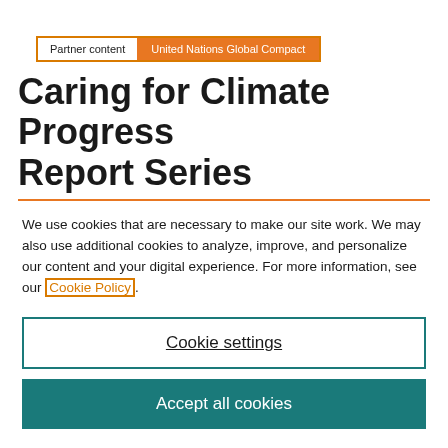Partner content | United Nations Global Compact
Caring for Climate Progress Report Series
We use cookies that are necessary to make our site work. We may also use additional cookies to analyze, improve, and personalize our content and your digital experience. For more information, see our Cookie Policy.
Cookie settings
Accept all cookies